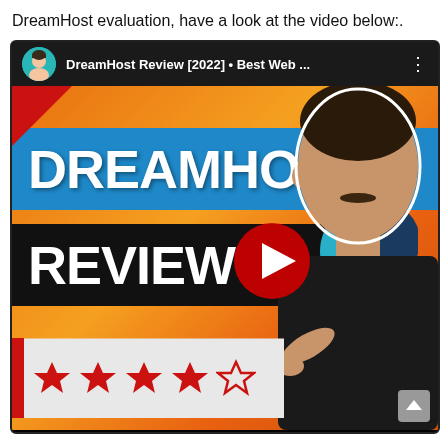DreamHost evaluation, have a look at the video below:.
[Figure (screenshot): A YouTube video thumbnail screenshot showing a 'DreamHost Review [2022] Best Web ...' video. The thumbnail has an orange background with 'DREAMHOST' text in a blue banner and 'REVIEW' text in a black banner, a YouTube play button, a DreamHost logo, a man pointing, and four filled red stars plus one empty red star at the bottom. The YouTube header shows a circular avatar of a man and the video title.]